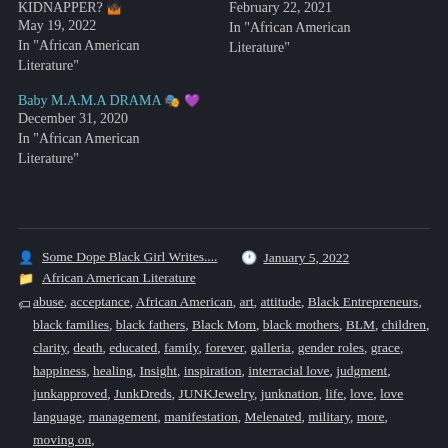KIDNAPPER? 🤷🏿 May 19, 2022 In "African American Literature"
February 22, 2021 In "African American Literature"
Baby M.A.M.A DRAMA 🎭 💜 December 31, 2020 In "African American Literature"
Post author: Some Dope Black Girl Writes.... | Post date: January 5, 2022 | Post categories: African American Literature | Post tags: abuse, acceptance, African American, art, attitude, Black Entrepreneurs, black families, black fathers, Black Mom, black mothers, BLM, children, clarity, death, educated, family, forever, galleria, gender roles, grace, happiness, healing, Insight, inspiration, interracial love, judgment, junkapproved, JunkDreds, JUNKJewelry, junknation, life, love, love language, management, manifestation, Melenated, military, more, moving on,